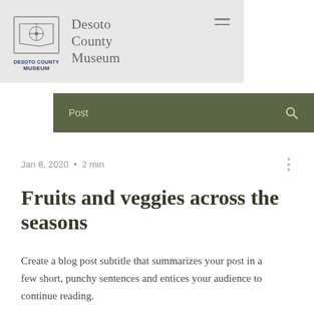DeSoto County Museum
Post
Jan 8, 2020 · 2 min
Fruits and veggies across the seasons
Create a blog post subtitle that summarizes your post in a few short, punchy sentences and entices your audience to continue reading.